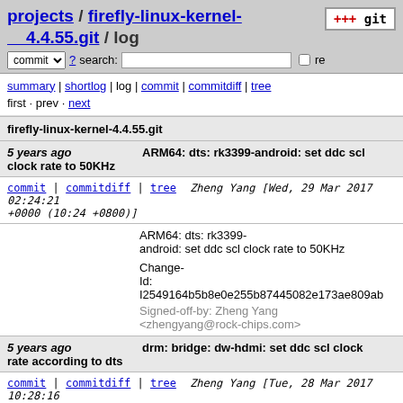projects / firefly-linux-kernel-4.4.55.git / log
summary | shortlog | log | commit | commitdiff | tree
first · prev · next
firefly-linux-kernel-4.4.55.git
5 years ago  ARM64: dts: rk3399-android: set ddc scl clock rate to 50KHz
commit | commitdiff | tree  Zheng Yang [Wed, 29 Mar 2017 02:24:21 +0000 (10:24 +0800)]
ARM64: dts: rk3399-android: set ddc scl clock rate to 50KHz

Change-Id: I2549164b5b8e0e255b87445082e173ae809ab
Signed-off-by: Zheng Yang <zhengyang@rock-chips.com>
5 years ago  drm: bridge: dw-hdmi: set ddc scl clock rate according to dts
commit | commitdiff | tree  Zheng Yang [Tue, 28 Mar 2017 10:28:16 +0000 (18:28 +0800)]
drm: bridge: dw-